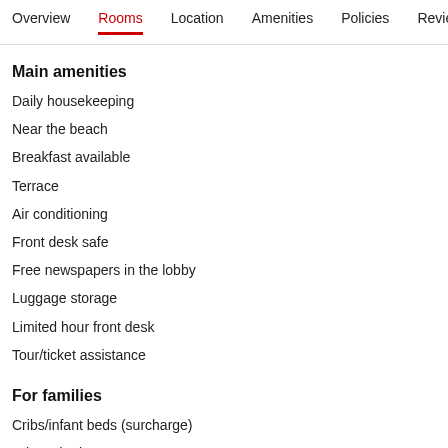Overview  Rooms  Location  Amenities  Policies  Reviews
Main amenities
Daily housekeeping
Near the beach
Breakfast available
Terrace
Air conditioning
Front desk safe
Free newspapers in the lobby
Luggage storage
Limited hour front desk
Tour/ticket assistance
For families
Cribs/infant beds (surcharge)
Private bathroom
Terrace